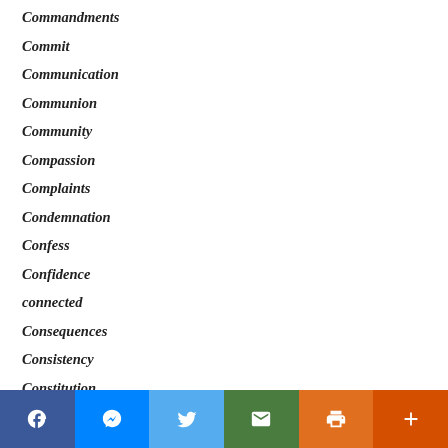Commandments
Commit
Communication
Communion
Community
Compassion
Complaints
Condemnation
Confess
Confidence
connected
Consequences
Consistency
Constitution
Control
Facebook | Messenger | Twitter | Email | Print | More